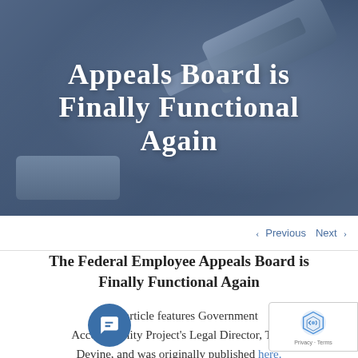[Figure (photo): Hero image with a judge's gavel on a dark blue overlay background]
Appeals Board is Finally Functional Again
‹ Previous   Next ›
The Federal Employee Appeals Board is Finally Functional Again
This article features Government Accountability Project's Legal Director, Tom Devine, and was originally published here.
The panel tasked with enforcing civil service